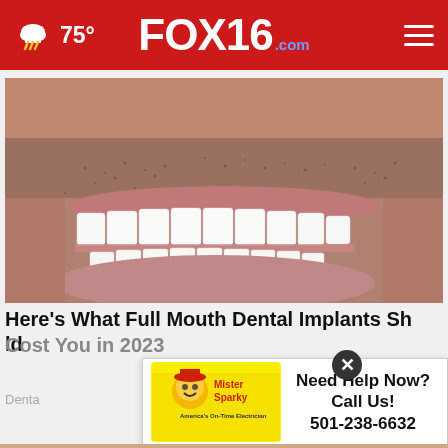FOX16.com — 75° weather header with hamburger menu
[Figure (photo): Close-up photo of a man's smile showing white dental implants/veneers with stubble facial hair visible]
Here's What Full Mouth Dental Implants Should Cost You in 2023
Dental
[Figure (advertisement): Mister Sparky electrician advertisement with logo showing cartoon electrician, text: Need Help Now? Call Us! 501-238-6632]